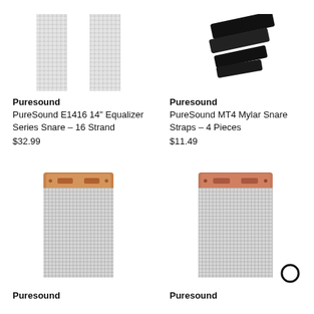[Figure (photo): Two silver snare wire strands viewed from top, mesh pattern]
Puresound
PureSound E1416 14" Equalizer Series Snare - 16 Strand
$32.99
[Figure (photo): Black mylar snare strap pieces diagonal on white background]
Puresound
PureSound MT4 Mylar Snare Straps - 4 Pieces
$11.49
[Figure (photo): Bronze/copper colored snare wire with bronze end plate, full strands visible]
Puresound
[Figure (photo): Copper colored snare wire with copper end plate, full strands visible, circle badge overlay]
Puresound